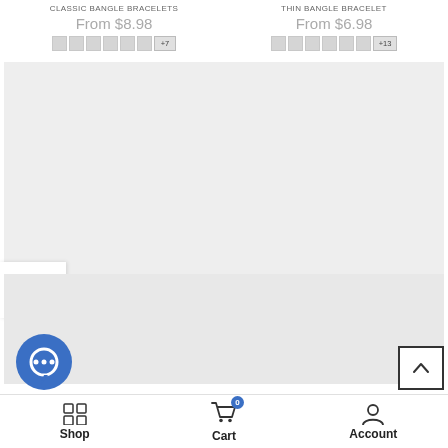CLASSIC BANGLE BRACELETS
From $8.98
[Figure (other): Color swatches for classic bangle bracelets, 6 swatches plus +7 more]
THIN BANGLE BRACELET
From $6.98
[Figure (other): Color swatches for thin bangle bracelet, 6 swatches plus +13 more]
[Figure (screenshot): Large product image area (gray placeholder)]
[Figure (other): Sidebar toggle button with two-column layout icon]
[Figure (screenshot): Second product image area (gray placeholder)]
[Figure (other): Back to top button with upward chevron]
[Figure (other): Blue chat bubble icon]
Shop   Cart   Account